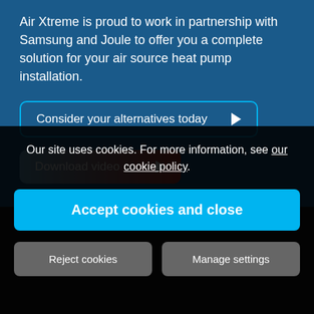Air Xtreme is proud to work in partnership with Samsung and Joule to offer you a complete solution for your air source heat pump installation.
Consider your alternatives today ▶
Download video ▶
Our site uses cookies. For more information, see our cookie policy.
Accept cookies and close
Reject cookies
Manage settings